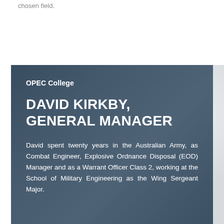chosen field.
OPEC College
DAVID KIRKBY, GENERAL MANAGER
David spent twenty years in the Australian Army, as Combat Engineer, Explosive Ordnance Disposal (EOD) Manager and as a Warrant Officer Class 2, working at the School of Military Engineering as the Wing Sergeant Major.